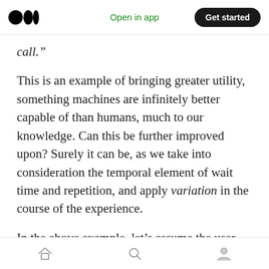Open in app | Get started
call.”
This is an example of bringing greater utility, something machines are infinitely better capable of than humans, much to our knowledge. Can this be further improved upon? Surely it can be, as we take into consideration the temporal element of wait time and repetition, and apply variation in the course of the experience.
In the above example, let’s assume the user has chosen to wait rather than be called back. He has decided that the wait time is sufficient and may
Home | Search | Profile